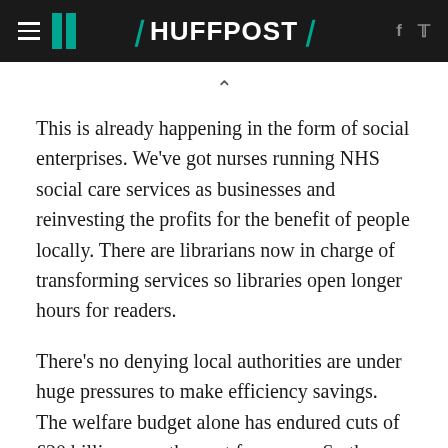HUFFPOST
This is already happening in the form of social enterprises. We've got nurses running NHS social care services as businesses and reinvesting the profits for the benefit of people locally. There are librarians now in charge of transforming services so libraries open longer hours for readers.
There's no denying local authorities are under huge pressures to make efficiency savings. The welfare budget alone has endured cuts of £20 billion over the past few years. So the temptation is to stick with what you know, with NHS